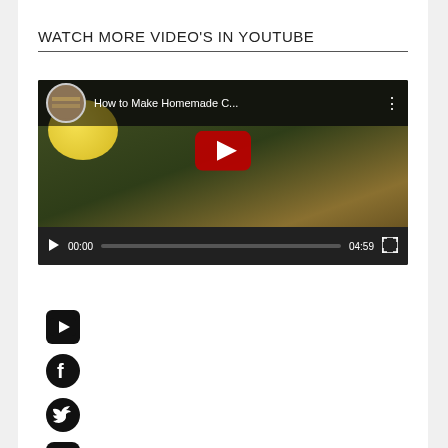WATCH MORE VIDEO'S IN YOUTUBE
[Figure (screenshot): Embedded YouTube video player showing 'How to Make Homemade C...' with thumbnail of lemon and cucumber drink, play button overlay, time 00:00 / 04:59, with controls bar]
[Figure (other): Social media icons: YouTube, Facebook, Twitter, Instagram]